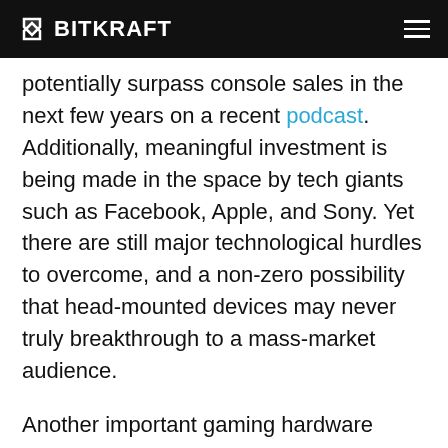BITKRAFT
potentially surpass console sales in the next few years on a recent podcast. Additionally, meaningful investment is being made in the space by tech giants such as Facebook, Apple, and Sony. Yet there are still major technological hurdles to overcome, and a non-zero possibility that head-mounted devices may never truly breakthrough to a mass-market audience.
Another important gaming hardware segment to consider going forward is